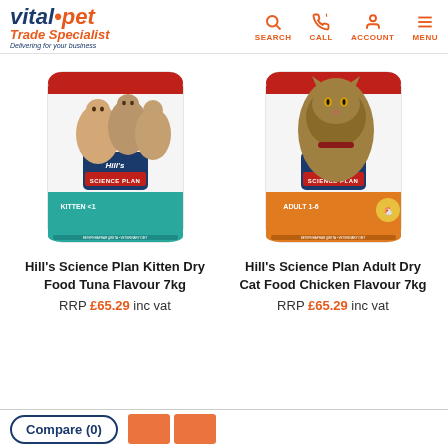vital.pet Trade Specialist - Delivering for your business | SEARCH | CALL | ACCOUNT | MENU
[Figure (photo): Hill's Science Plan Kitten Dry Food Tuna Flavour 7kg product bag showing two kittens, red top, teal bottom label]
[Figure (photo): Hill's Science Plan Adult Dry Cat Food Chicken Flavour 7kg product bag showing adult tabby cat, red top, orange bottom label]
Hill's Science Plan Kitten Dry Food Tuna Flavour 7kg
Hill's Science Plan Adult Dry Cat Food Chicken Flavour 7kg
RRP £65.29 inc vat
RRP £65.29 inc vat
Compare (0)